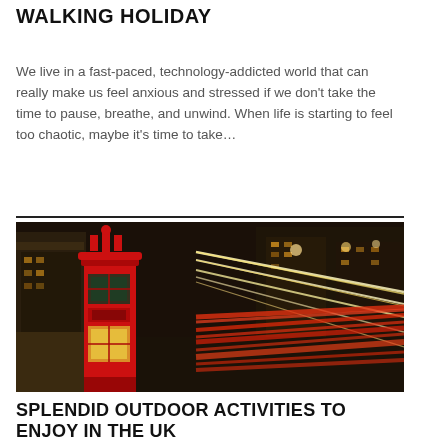WALKING HOLIDAY
We live in a fast-paced, technology-addicted world that can really make us feel anxious and stressed if we don't take the time to pause, breathe, and unwind. When life is starting to feel too chaotic, maybe it's time to take…
[Figure (photo): Night cityscape of London street with a red telephone box in the foreground and streaking light trails from traffic on the road behind it, set against brightly lit buildings.]
SPLENDID OUTDOOR ACTIVITIES TO ENJOY IN THE UK
From an ecstatic rotating wheel tour of the London's